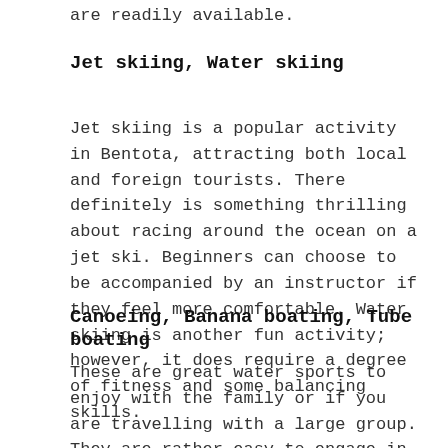are readily available.
Jet skiing, Water skiing
Jet skiing is a popular activity in Bentota, attracting both local and foreign tourists. There definitely is something thrilling about racing around the ocean on a jet ski. Beginners can choose to be accompanied by an instructor if they feel more comfortable. Water skiing is another fun activity; however, it does require a degree of fitness and some balancing skills.
Canoeing, Banana boating, Tube boating
These are great water sports to enjoy with the family or if you are travelling with a large group. They are rather easy to engage in and can be heaps of fun for all!